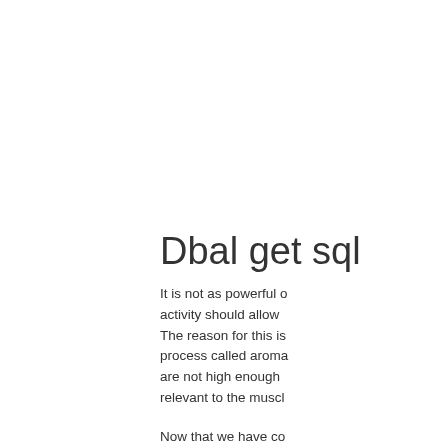Dbal get sql
It is not as powerful o activity should allow The reason for this is process called aroma are not high enough relevant to the muscl
Now that we have co next topic: natural es menopause, and th